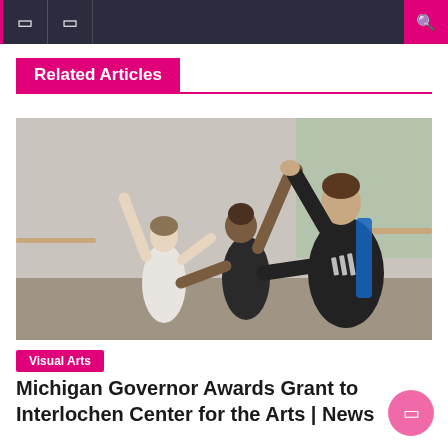Navigation bar with menu icons and search
Related Articles
[Figure (photo): Ballet class photo showing a male instructor in a black Adidas jacket guiding a female dancer with her arm raised, another dancer in white in the background, in a studio with large windows.]
Visual Arts
Michigan Governor Awards Grant to Interlochen Center for the Arts | News